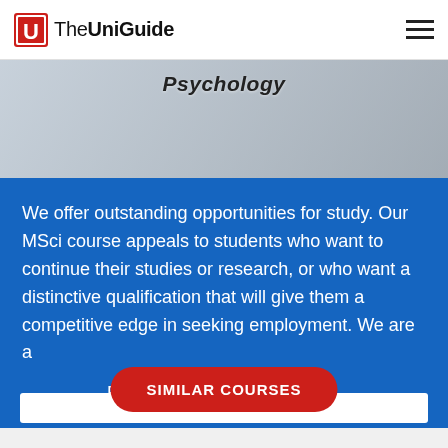TheUniGuide
[Figure (photo): Photo banner showing hands/wrists with text 'Psychology' overlaid in italic style]
We offer outstanding opportunities for study. Our MSci course appeals to students who want to continue their studies or research, or who want a distinctive qualification that will give them a competitive edge in seeking employment. We are a
Read full course summary
SIMILAR COURSES